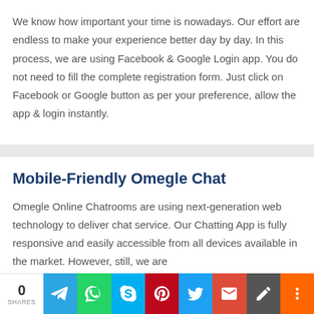We know how important your time is nowadays. Our effort are endless to make your experience better day by day. In this process, we are using Facebook & Google Login app. You do not need to fill the complete registration form. Just click on Facebook or Google button as per your preference, allow the app & login instantly.
Mobile-Friendly Omegle Chat
Omegle Online Chatrooms are using next-generation web technology to deliver chat service. Our Chatting App is fully responsive and easily accessible from all devices available in the market. However, still, we are
0 SHARES [Telegram] [WhatsApp] [Skype] [Pinterest] [Twitter] [Gmail] [Pen] [More]